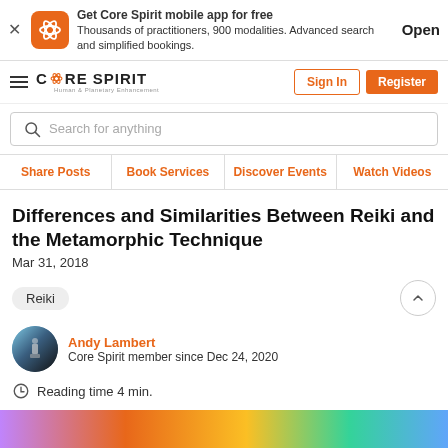Get Core Spirit mobile app for free — Thousands of practitioners, 900 modalities. Advanced search and simplified bookings. Open
[Figure (logo): Core Spirit logo with hamburger menu, Sign In and Register buttons]
Search for anything
Share Posts | Book Services | Discover Events | Watch Videos
Differences and Similarities Between Reiki and the Metamorphic Technique
Mar 31, 2018
Reiki
Andy Lambert
Core Spirit member since Dec 24, 2020
Reading time 4 min.